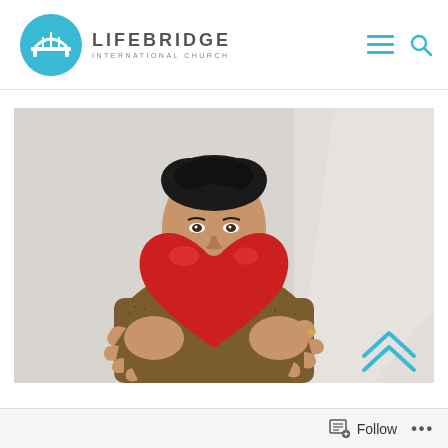LIFEBRIDGE INTERNATIONAL CHURCH
[Figure (photo): A woman with short dark curly hair holding a large red heart-shaped balloon against her chest, wearing a patterned jacket, against a light gray background.]
Follow  ...